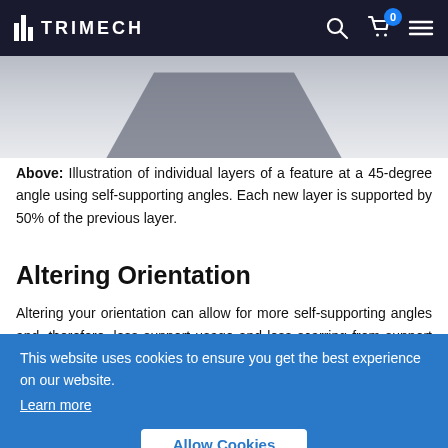TRIMECH
[Figure (photo): Partial view of a 3D printed part or illustration showing individual layers at a 45-degree angle, dark gray/blue tones]
Above: Illustration of individual layers of a feature at a 45-degree angle using self-supporting angles. Each new layer is supported by 50% of the previous layer.
Altering Orientation
Altering your orientation can allow for more self-supporting angles and, therefore, less support usage and less scarring from support removal on your final form. In this example, choosing the correct orientation is important for both printing speed and strength as well. 3D printed parts can be weaker along the "grain" of the layers, so it is important to know
This website uses cookies to ensure you get the best experience on our website. Learn more
Allow Cookies